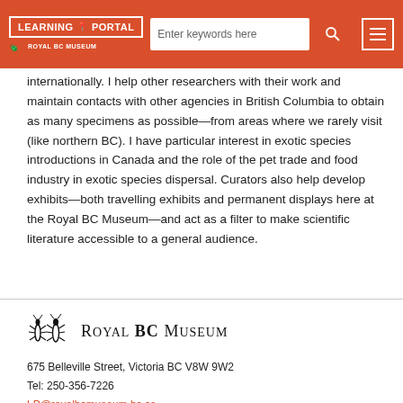LEARNING PORTAL | Royal BC Museum | Enter keywords here | [search] [menu]
internationally. I help other researchers with their work and maintain contacts with other agencies in British Columbia to obtain as many specimens as possible—from areas where we rarely visit (like northern BC). I have particular interest in exotic species introductions in Canada and the role of the pet trade and food industry in exotic species dispersal. Curators also help develop exhibits—both travelling exhibits and permanent displays here at the Royal BC Museum—and act as a filter to make scientific literature accessible to a general audience.
[Figure (logo): Royal BC Museum logo with stylized insect figures and text 'ROYAL BC MUSEUM' in small caps serif font]
675 Belleville Street, Victoria BC V8W 9W2
Tel: 250-356-7226
LP@royalbcmuseum.bc.ca
© 2022 Royal BC Museum
Select Language